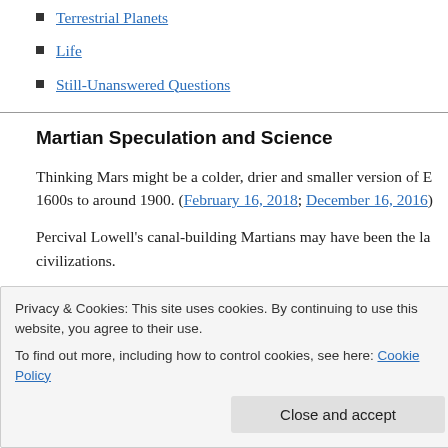Terrestrial Planets
Life
Still-Unanswered Questions
Martian Speculation and Science
Thinking Mars might be a colder, drier and smaller version of E... 1600s to around 1900. (February 16, 2018; December 16, 2016)
Percival Lowell’s canal-building Martians may have been the la... civilizations.
I gather that most scientists didn’t take his ideas about a despera...
Privacy & Cookies: This site uses cookies. By continuing to use this website, you agree to their use. To find out more, including how to control cookies, see here: Cookie Policy
Close and accept